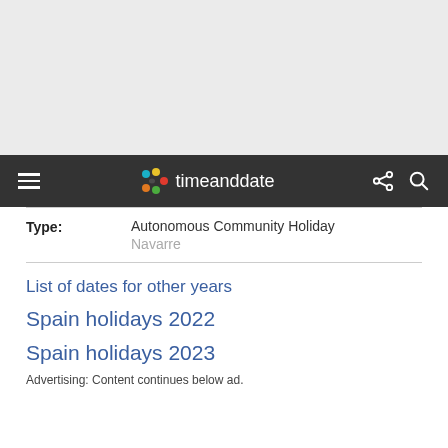[Figure (screenshot): Gray advertisement placeholder area at top of page]
timeanddate navigation bar with hamburger menu, logo, share and search icons
| Type: |  |
| --- | --- |
| Autonomous Community Holiday |  |
| Navarre |  |
List of dates for other years
Spain holidays 2022
Spain holidays 2023
Advertising: Content continues below ad.